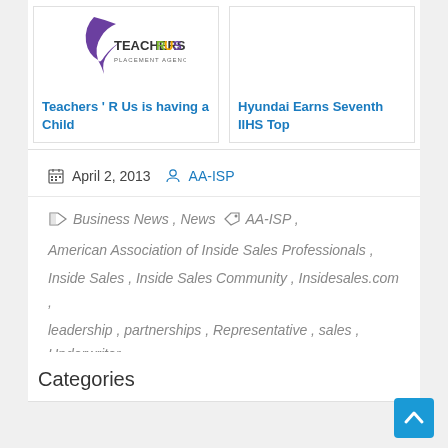[Figure (logo): Teachers R Us Placement Agency logo with purple swoosh icon]
Teachers ' R Us is having a Child
[Figure (other): Blank card placeholder for Hyundai article]
Hyundai Earns Seventh IIHS Top
April 2, 2013  AA-ISP
Business News , News  AA-ISP , American Association of Inside Sales Professionals , Inside Sales , Inside Sales Community , Insidesales.com , leadership , partnerships , Representative , sales , Underwriter
Categories